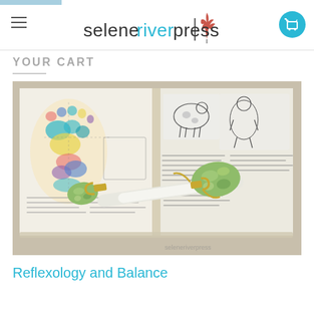seleneriverpress
YOUR CART
[Figure (photo): A jade/green stone facial roller tool resting on an open book showing colorful reflexology foot diagrams and black-and-white illustrations. The book pages show diagrams of feet with color-coded zones and small figure illustrations. The roller has gold-colored metal connectors.]
Reflexology and Balance